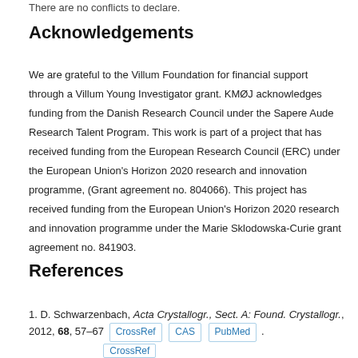There are no conflicts to declare.
Acknowledgements
We are grateful to the Villum Foundation for financial support through a Villum Young Investigator grant. KMØJ acknowledges funding from the Danish Research Council under the Sapere Aude Research Talent Program. This work is part of a project that has received funding from the European Research Council (ERC) under the European Union's Horizon 2020 research and innovation programme, (Grant agreement no. 804066). This project has received funding from the European Union's Horizon 2020 research and innovation programme under the Marie Sklodowska-Curie grant agreement no. 841903.
References
D. Schwarzenbach, Acta Crystallogr., Sect. A: Found. Crystallogr., 2012, 68, 57–67 [CrossRef] [CAS] [PubMed] .